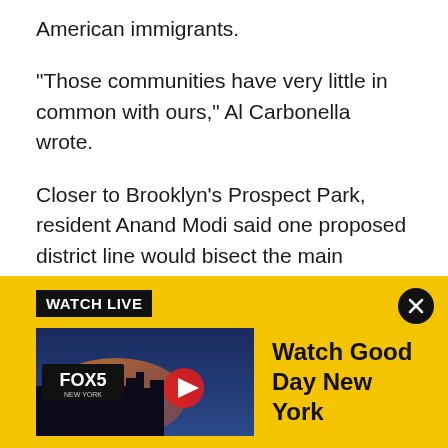American immigrants.
"Those communities have very little in common with ours," Al Carbonella wrote.
Closer to Brooklyn’s Prospect Park, resident Anand Modi said one proposed district line would bisect the main commercial street in his neighborhood, making it confusing for residents.
"I would walk across the street to talk to a neighbor about upcoming elections and find that there was no point -- despite living close enough to be able to have
[Figure (screenshot): Fox 5 New York Watch Live banner with yellow background, showing 'WATCH LIVE' label in black box, a Fox 5 NY thumbnail with play button, and text 'Watch Good Day New York' in bold black text.]